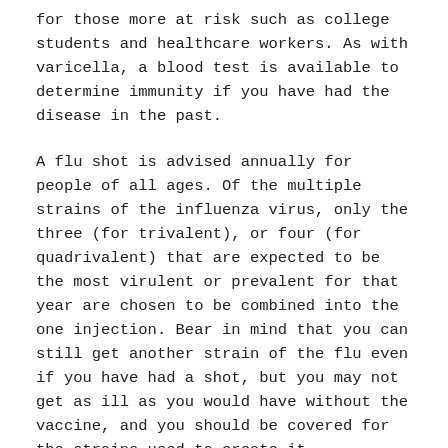for those more at risk such as college students and healthcare workers. As with varicella, a blood test is available to determine immunity if you have had the disease in the past.
A flu shot is advised annually for people of all ages. Of the multiple strains of the influenza virus, only the three (for trivalent), or four (for quadrivalent) that are expected to be the most virulent or prevalent for that year are chosen to be combined into the one injection. Bear in mind that you can still get another strain of the flu even if you have had a shot, but you may not get as ill as you would have without the vaccine, and you should be covered for the strains used to create it.
Other vaccines for adults provide protection against